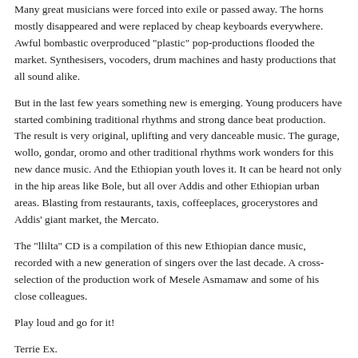Many great musicians were forced into exile or passed away. The horns mostly disappeared and were replaced by cheap keyboards everywhere. Awful bombastic overproduced "plastic" pop-productions flooded the market. Synthesisers, vocoders, drum machines and hasty productions that all sound alike.
But in the last few years something new is emerging. Young producers have started combining traditional rhythms and strong dance beat production. The result is very original, uplifting and very danceable music. The gurage, wollo, gondar, oromo and other traditional rhythms work wonders for this new dance music. And the Ethiopian youth loves it. It can be heard not only in the hip areas like Bole, but all over Addis and other Ethiopian urban areas. Blasting from restaurants, taxis, coffeeplaces, grocerystores and Addis' giant market, the Mercato.
The "llilta" CD is a compilation of this new Ethiopian dance music, recorded with a new generation of singers over the last decade. A cross-selection of the production work of Mesele Asmamaw and some of his close colleagues.
Play loud and go for it!
Terrie Ex.
[Figure (other): Two UI buttons: a heart/favorite button and a share/transfer button]